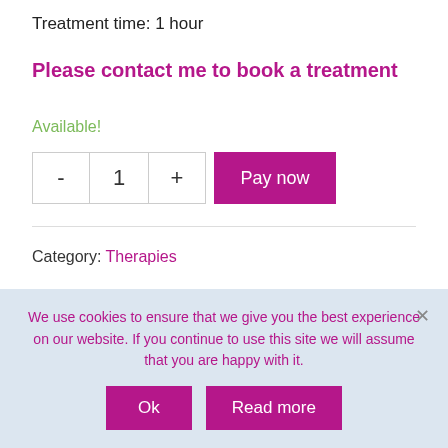Treatment time: 1 hour
Please contact me to book a treatment
Available!
- 1 + Pay now
Category: Therapies
We use cookies to ensure that we give you the best experience on our website. If you continue to use this site we will assume that you are happy with it.
Ok
Read more